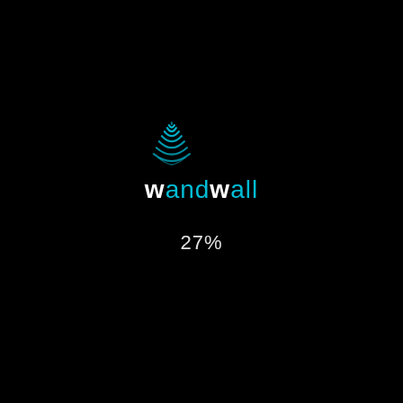[Figure (logo): Wandwall logo: a teal fingerprint/shell icon above the text 'wandwall' in teal with stylized white 'w' letters, on a black background]
27%